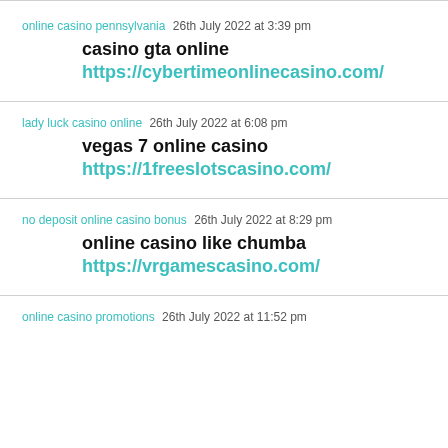online casino pennsylvania  26th July 2022 at 3:39 pm
casino gta online
https://cybertimeonlinecasino.com/
lady luck casino online  26th July 2022 at 6:08 pm
vegas 7 online casino
https://1freeslotscasino.com/
no deposit online casino bonus  26th July 2022 at 8:29 pm
online casino like chumba
https://vrgamescasino.com/
online casino promotions  26th July 2022 at 11:52 pm